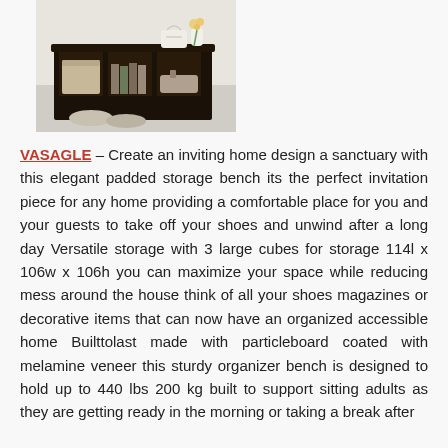[Figure (photo): A dark espresso/black storage bench with 3 large open cube compartments, containing fabric baskets, books, and sandals on the floor beside it. A white vase with flowers and a white handbag are placed on top. Room setting with light carpet flooring.]
VASAGLE – Create an inviting home design a sanctuary with this elegant padded storage bench its the perfect invitation piece for any home providing a comfortable place for you and your guests to take off your shoes and unwind after a long day Versatile storage with 3 large cubes for storage 114l x 106w x 106h you can maximize your space while reducing mess around the house think of all your shoes magazines or decorative items that can now have an organized accessible home Builttolast made with particleboard coated with melamine veneer this sturdy organizer bench is designed to hold up to 440 lbs 200 kg built to support sitting adults as they are getting ready in the morning or taking a break after